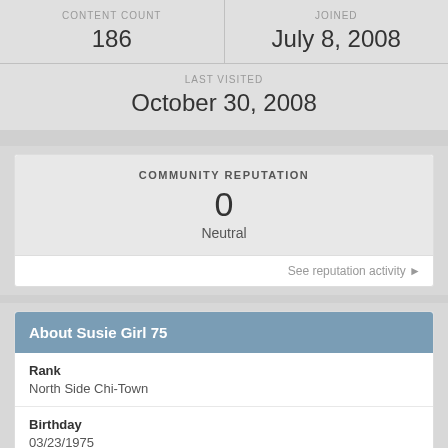| CONTENT COUNT | JOINED |
| --- | --- |
| 186 | July 8, 2008 |
| LAST VISITED |
| --- |
| October 30, 2008 |
COMMUNITY REPUTATION
0
Neutral
See reputation activity ▶
About Susie Girl 75
Rank
North Side Chi-Town
Birthday
03/23/1975
About Me